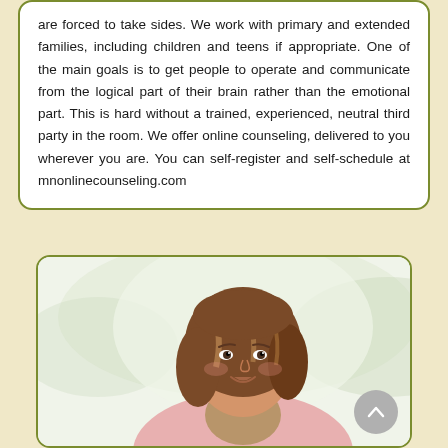are forced to take sides. We work with primary and extended families, including children and teens if appropriate. One of the main goals is to get people to operate and communicate from the logical part of their brain rather than the emotional part. This is hard without a trained, experienced, neutral third party in the room. We offer online counseling, delivered to you wherever you are. You can self-register and self-schedule at mnonlinecounseling.com
[Figure (photo): A smiling woman with brown hair wearing a pink cardigan, photographed outdoors with a light background.]